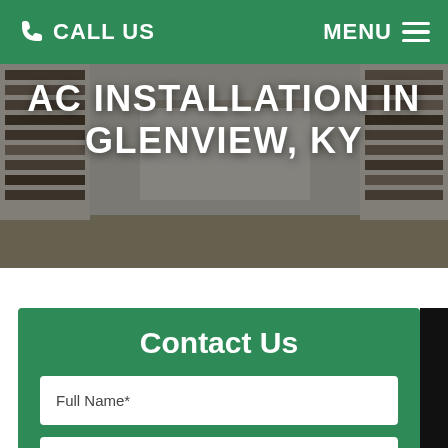CALL US   MENU
AC INSTALLATION IN GLENVIEW, KY
Contact Us
Full Name*
Email*
Phone*